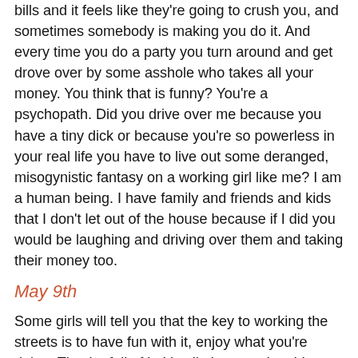bills and it feels like they're going to crush you, and sometimes somebody is making you do it. And every time you do a party you turn around and get drove over by some asshole who takes all your money. You think that is funny? You're a psychopath. Did you drive over me because you have a tiny dick or because you're so powerless in your real life you have to live out some deranged, misogynistic fantasy on a working girl like me? I am a human being. I have family and friends and kids that I don't let out of the house because if I did you would be laughing and driving over them and taking their money too.
May 9th
Some girls will tell you that the key to working the streets is to have fun with it, enjoy what you're doing. They're full of it. It's all about getting things done efficiently. The key is to refine your technique until you can take care of business in five to six seconds. You know what kind of muscles it takes? You try to make a car bounce up and down with one hand.
June 30th
Alright, I quit. I just saw a guy in a bowler hat and suit crash a